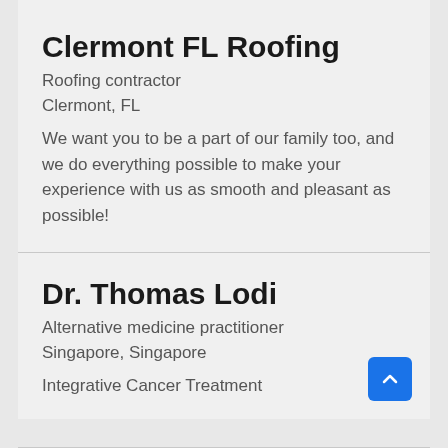Clermont FL Roofing
Roofing contractor
Clermont, FL
We want you to be a part of our family too, and we do everything possible to make your experience with us as smooth and pleasant as possible!
Dr. Thomas Lodi
Alternative medicine practitioner
Singapore, Singapore
Integrative Cancer Treatment